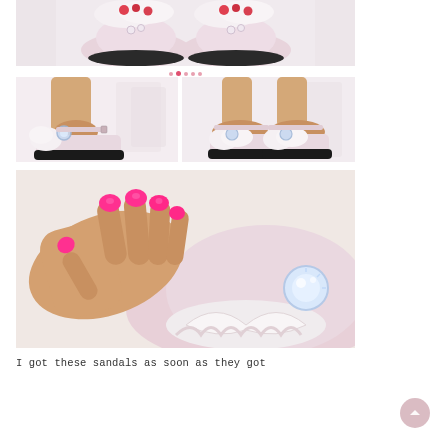[Figure (photo): Close-up top view of two feet wearing pink platform sandals with white ruffles and jeweled embellishments, standing on a light floor]
[Figure (photo): Left side view of a person's feet and lower legs wearing pink platform sandals with ankle strap and crystal/pearl embellishment, light background]
[Figure (photo): Front view of feet wearing pink platform sandals with white ruffle toe decoration and jeweled strap, light background]
[Figure (photo): Close-up of a hand with bright pink/neon nails holding or touching the ruffled embellishment and crystal gem detail on a pink platform sandal]
I got these sandals as soon as they got